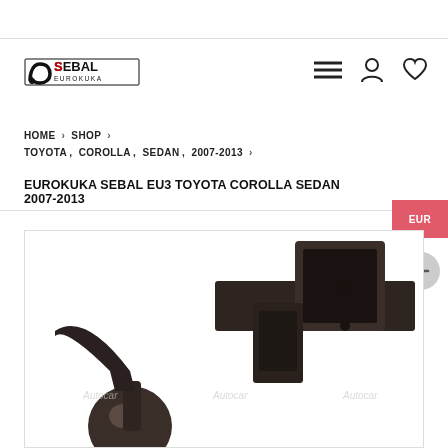SEBAL EUROKUKA logo with navigation icons
HOME > SHOP > TOYOTA, COROLLA, SEDAN, 2007-2013 >
EUROKUKA SEBAL EU3 TOYOTA COROLLA SEDAN 2007-2013
[Figure (photo): Product photo of a tow bar / towball coupling component in dark bronze/black finish, showing ball hitch and square receiver bracket. Contains three Autocar watermarks.]